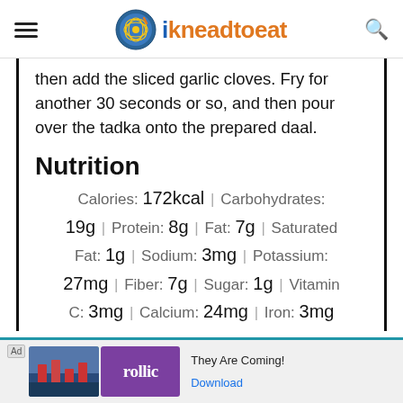ikneadtoeat
then add the sliced garlic cloves. Fry for another 30 seconds or so, and then pour over the tadka onto the prepared daal.
Nutrition
Calories: 172kcal | Carbohydrates: 19g | Protein: 8g | Fat: 7g | Saturated Fat: 1g | Sodium: 3mg | Potassium: 27mg | Fiber: 7g | Sugar: 1g | Vitamin C: 3mg | Calcium: 24mg | Iron: 3mg